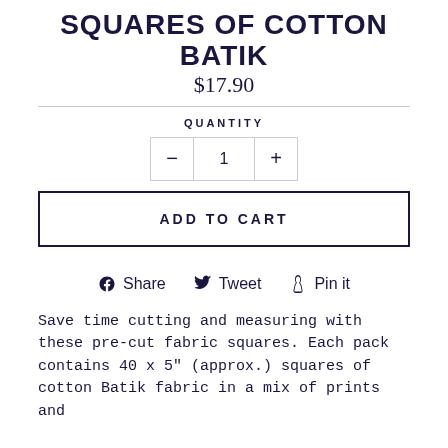SQUARES OF COTTON BATIK
$17.90
QUANTITY
− 1 +
ADD TO CART
Share  Tweet  Pin it
Save time cutting and measuring with these pre-cut fabric squares. Each pack contains 40 x 5" (approx.) squares of cotton Batik fabric in a mix of prints and